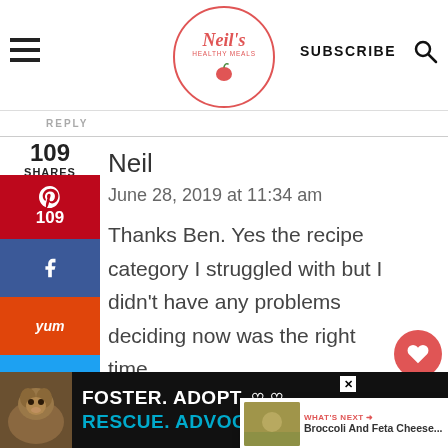Neil's Healthy Meals — SUBSCRIBE
REPLY
109 SHARES
Neil
June 28, 2019 at 11:34 am
Thanks Ben. Yes the recipe category I struggled with but I didn't have any problems deciding now was the right time
[Figure (screenshot): Social share sidebar with Pinterest (109), Facebook, Yummly, Twitter buttons]
[Figure (screenshot): Like button (heart icon, red circle) with count 123, and share icon]
WHAT'S NEXT → Broccoli And Feta Cheese...
[Figure (photo): Ad banner: Foster. Adopt. Rescue. Advocate. with dog photo on dark background]